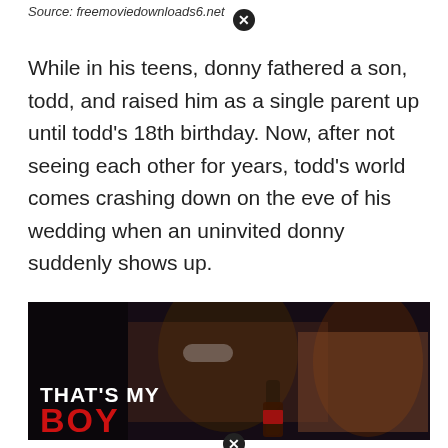Source: freemoviedownloads6.net
While in his teens, donny fathered a son, todd, and raised him as a single parent up until todd's 18th birthday. Now, after not seeing each other for years, todd's world comes crashing down on the eve of his wedding when an uninvited donny suddenly shows up.
[Figure (screenshot): Movie still from 'That's My Boy' showing a man wearing large aviator sunglasses smoking a cigar and holding a beer bottle, with a young woman beside him. The movie title 'THAT'S MY BOY' is shown in the lower left, with 'BOY' in red letters.]